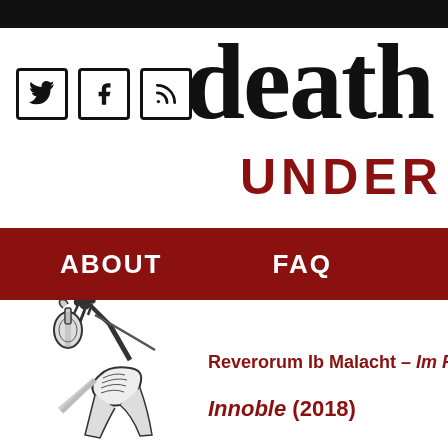death UNDERGROUND
[Figure (screenshot): Social media icons: Twitter bird, Facebook f, RSS feed symbol — each in a square box outline]
death
UNDER
ABOUT   FAQ
[Figure (illustration): Black and white illustration of a skeleton figure holding up a stringed instrument (violin or similar), drawn in a classic woodcut/engraving style]
Reverorum Ib Malacht – Im R
Innoble (2018)